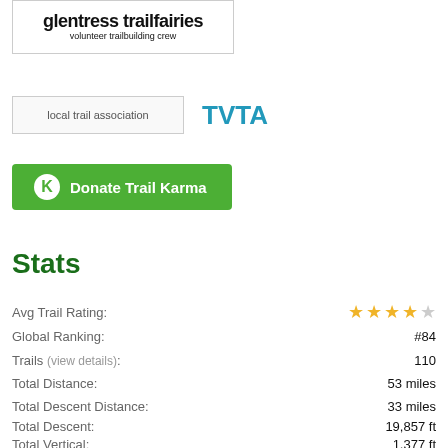[Figure (logo): Glentress Trailfairies volunteer trailbuilding crew logo in a bordered box]
[Figure (logo): Local trail association image placeholder next to TVTA text]
TVTA
[Figure (other): Green Donate Trail Karma button with K icon]
Stats
Avg Trail Rating: ★★★★☆ (3.5 stars)
Global Ranking: #84
Trails (view details): 110
Total Distance: 53 miles
Total Descent Distance: 33 miles
Total Descent: 19,857 ft
Total Vertical: 1,377 ft
Highest Trailhead: 1,850 ft